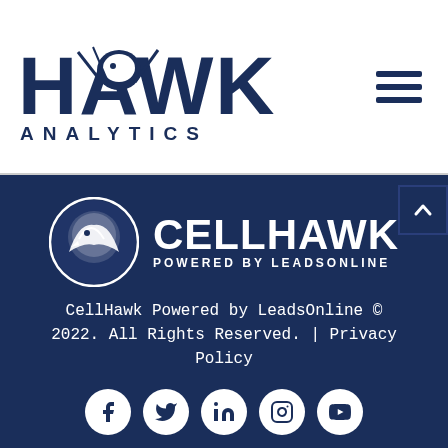[Figure (logo): Hawk Analytics logo with eagle graphic, dark navy text reading HAWK ANALYTICS]
[Figure (logo): CellHawk Powered by LeadsOnline logo - white circle with eagle head icon and bold white text CELLHAWK POWERED BY LEADSONLINE]
CellHawk Powered by LeadsOnline © 2022. All Rights Reserved. | Privacy Policy
[Figure (infographic): Social media icons row: Facebook, Twitter, LinkedIn, Instagram, YouTube - white icons in white circles on dark navy background]